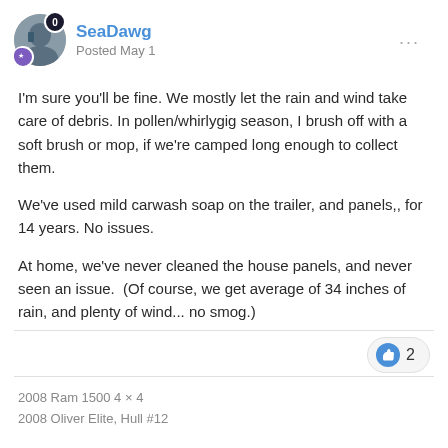SeaDawg — Posted May 1
I'm sure you'll be fine. We mostly let the rain and wind take care of debris. In pollen/whirlygig season, I brush off with a soft brush or mop, if we're camped long enough to collect them.
We've used mild carwash soap on the trailer, and panels,, for 14 years. No issues.
At home, we've never cleaned the house panels, and never seen an issue.  (Of course, we get average of 34 inches of rain, and plenty of wind... no smog.)
2
2008 Ram 1500 4 × 4
2008 Oliver Elite, Hull #12